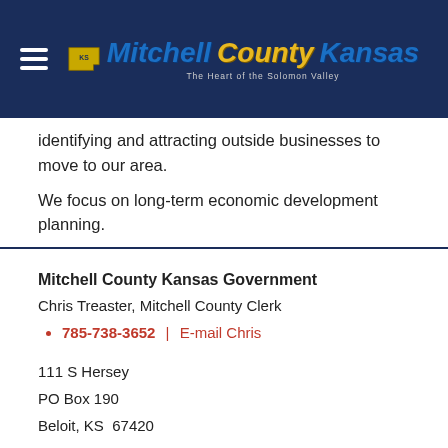Mitchell County Kansas — The Heart of the Solomon Valley
identifying and attracting outside businesses to move to our area.
We focus on long-term economic development planning.
Mitchell County Kansas Government
Chris Treaster, Mitchell County Clerk
785-738-3652  |  E-mail Chris
111 S Hersey
PO Box 190
Beloit, KS  67420
Locate Us